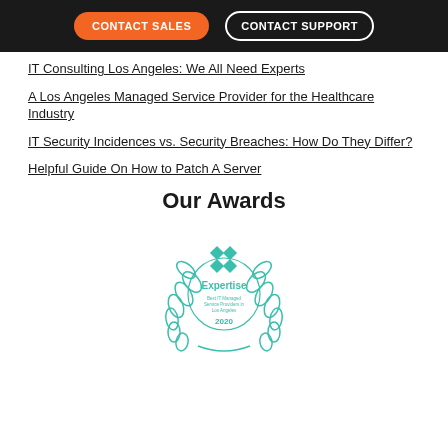CONTACT SALES | CONTACT SUPPORT
IT Consulting Los Angeles: We All Need Experts
A Los Angeles Managed Service Provider for the Healthcare Industry
IT Security Incidences vs. Security Breaches: How Do They Differ?
Helpful Guide On How to Patch A Server
Our Awards
[Figure (logo): Expertise badge — Best IT Managed Service Providers in Los Angeles 2020, teal laurel wreath with geometric diamond logo]